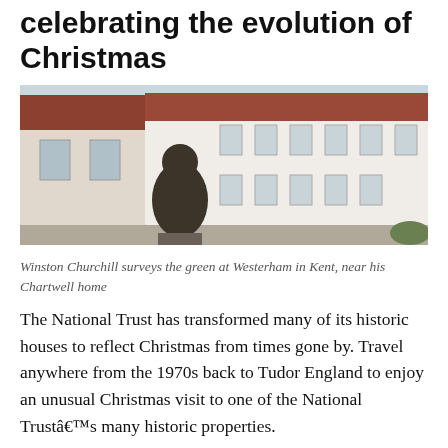celebrating the evolution of Christmas
[Figure (photo): A statue of Winston Churchill seated on a bench, surveying a green in Westerham, Kent. Historic English town buildings with red-tiled roofs are visible in the background.]
Winston Churchill surveys the green at Westerham in Kent, near his Chartwell home
The National Trust has transformed many of its historic houses to reflect Christmas from times gone by. Travel anywhere from the 1970s back to Tudor England to enjoy an unusual Christmas visit to one of the National Trustâ€™s many historic properties.